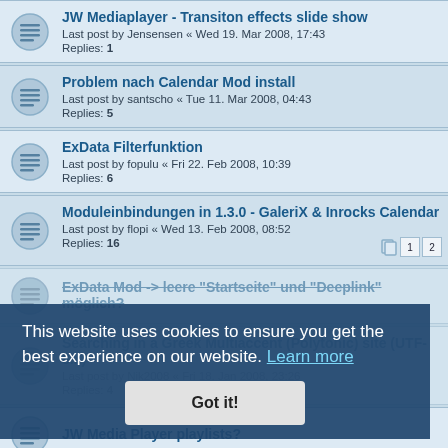JW Mediaplayer - Transiton effects slide show
Last post by Jensensen « Wed 19. Mar 2008, 17:43
Replies: 1
Problem nach Calendar Mod install
Last post by santscho « Tue 11. Mar 2008, 04:43
Replies: 5
ExData Filterfunktion
Last post by fopulu « Fri 22. Feb 2008, 10:39
Replies: 6
Moduleinbindungen in 1.3.0 - GaleriX & Inrocks Calendar
Last post by flopi « Wed 13. Feb 2008, 08:52
Replies: 16
ExData Mod -> leere "Startseite" und "Deeplink" möglich?
Searching in a Greek Multiaccent (Polytonic) site (UTF-8...)
Last post by Nik2008 « Fri 18. Jan 2008, 23:26
Replies: 4
JW Media Player playlists?
This website uses cookies to ensure you get the best experience on our website. Learn more
Got it!